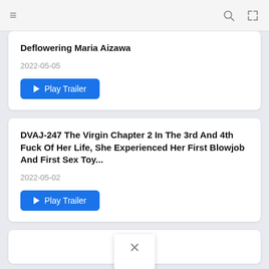≡  🔍  ✕
Deflowering Maria Aizawa
2022-05-05
▶ Play Trailer
DVAJ-247 The Virgin Chapter 2 In The 3rd And 4th Fuck Of Her Life, She Experienced Her First Blowjob And First Sex Toy...
2022-05-02
▶ Play Trailer